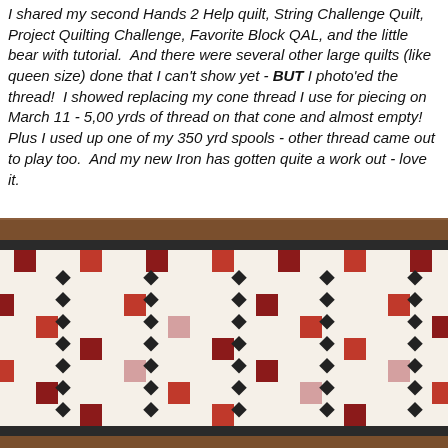I shared my second Hands 2 Help quilt, String Challenge Quilt, Project Quilting Challenge, Favorite Block QAL, and the little bear with tutorial.  And there were several other large quilts (like queen size) done that I can't show yet - BUT I photo'ed the thread!  I showed replacing my cone thread I use for piecing on March 11 - 5,00 yrds of thread on that cone and almost empty!  Plus I used up one of my 350 yrd spools - other thread came out to play too.  And my new Iron has gotten quite a work out - love it.
[Figure (photo): A quilt displayed against a wooden background. The quilt has a white/cream background with a pattern of red, dark red, pink, and black squares arranged in a diagonal/checkerboard pattern. The quilt has a brown border and a black inner border.]